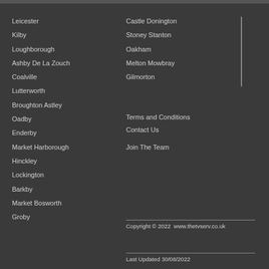Leicester
Kilby
Loughborough
Ashby De La Zouch
Coalville
Lutterworth
Broughton Astley
Oadby
Enderby
Market Harborough
Hinckley
Lockington
Barkby
Market Bosworth
Groby
Castle Donington
Stoney Stanton
Oakham
Melton Mowbray
Gilmorton
Terms and Conditions
Contact Us
Join The Team
Copyright © 2022  www.thetvserv.co.uk
Last Updated 30/08/2022